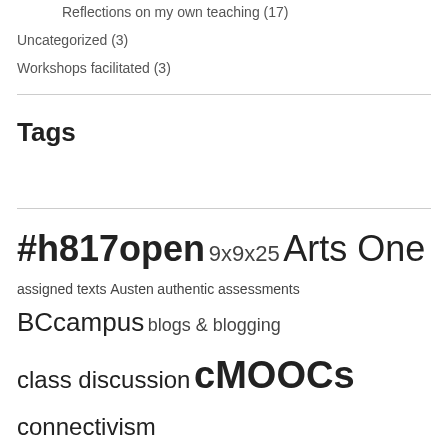Reflections on my own teaching (17)
Uncategorized (3)
Workshops facilitated (3)
Tags
#h817open 9x9x25 Arts One assigned texts Austen authentic assessments BCcampus blogs & blogging class discussion cMOOCs connectivism creative commons EdTech Ethics Fink Foucault gender & philosophy Gilman graphic novel Indigenous